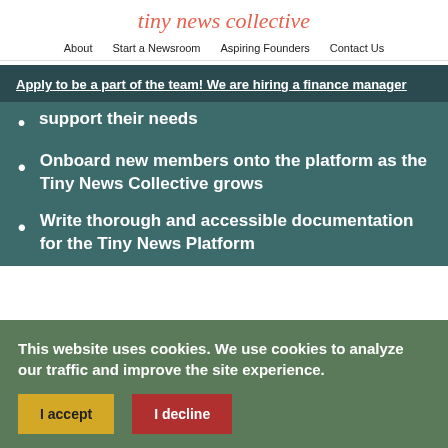tiny news collective
About  Start a Newsroom  Aspiring Founders  Contact Us
Apply to be a part of the team! We are hiring a finance manager
support their needs
Onboard new members onto the platform as the Tiny News Collective grows
Write thorough and accessible documentation for the Tiny News Platform
This website uses cookies. We use cookies to analyze our traffic and improve the site experience.